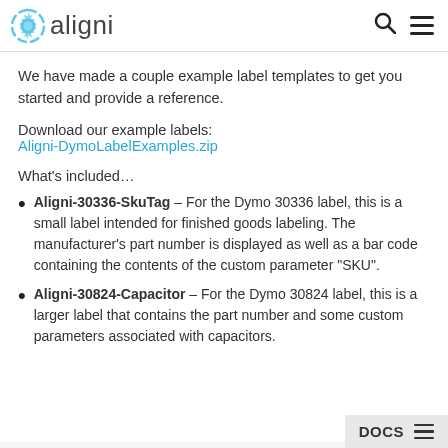aligni
We have made a couple example label templates to get you started and provide a reference.
Download our example labels:
Aligni-DymoLabelExamples.zip
What’s included…
Aligni-30336-SkuTag – For the Dymo 30336 label, this is a small label intended for finished goods labeling. The manufacturer’s part number is displayed as well as a bar code containing the contents of the custom parameter “SKU”.
Aligni-30824-Capacitor – For the Dymo 30824 label, this is a larger label that contains the part number and some custom parameters associated with capacitors.